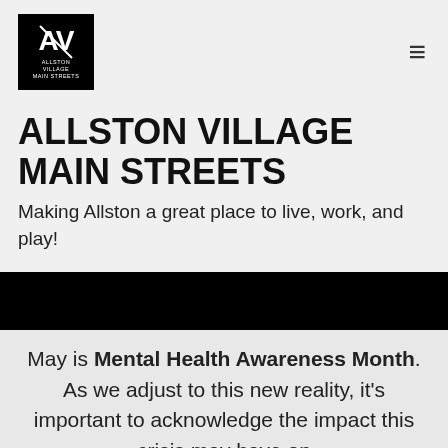[Figure (logo): Allston Village Main Streets logo — black square with AV monogram and text 'ALLSTON VILLAGE MAIN STREETS' below]
ALLSTON VILLAGE MAIN STREETS
Making Allston a great place to live, work, and play!
[Figure (photo): Black banner/image strip]
May is Mental Health Awareness Month. As we adjust to this new reality, it's important to acknowledge the impact this crisis may have on